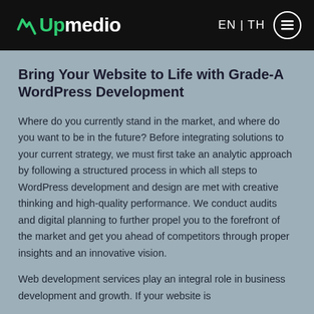Upmedio | EN | TH
Bring Your Website to Life with Grade-A WordPress Development
Where do you currently stand in the market, and where do you want to be in the future? Before integrating solutions to your current strategy, we must first take an analytic approach by following a structured process in which all steps to WordPress development and design are met with creative thinking and high-quality performance. We conduct audits and digital planning to further propel you to the forefront of the market and get you ahead of competitors through proper insights and an innovative vision.
Web development services play an integral role in business development and growth. If your website is